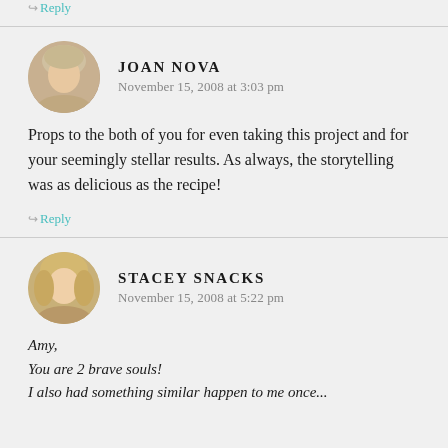↪ Reply
JOAN NOVA
November 15, 2008 at 3:03 pm
Props to the both of you for even taking this project and for your seemingly stellar results. As always, the storytelling was as delicious as the recipe!
↪ Reply
STACEY SNACKS
November 15, 2008 at 5:22 pm
Amy,
You are 2 brave souls!
I also had something similar happen to me once...